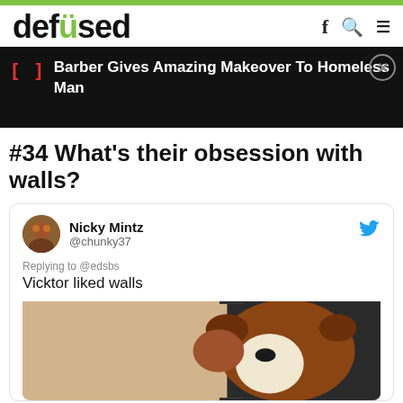defused
[Figure (screenshot): Ad banner on dark background showing red bracket icon and text: Barber Gives Amazing Makeover To Homeless Man, with close button]
#34 What’s their obsession with walls?
[Figure (screenshot): Tweet by Nicky Mintz (@chunky37) replying to @edsbs: 'Vicktor liked walls', with a photo of a dog pressing its face against a wall]
Replying to @edsbs
Vicktor liked walls